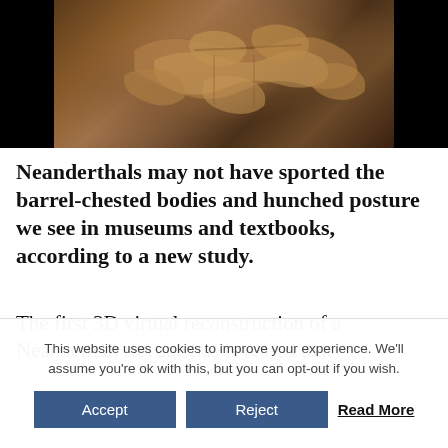[Figure (photo): Archaeological photo showing Neanderthal fossil bones/ribcage remains on a dark background]
Neanderthals may not have sported the barrel-chested bodies and hunched posture we see in museums and textbooks, according to a new study.
The first 3D virtual reconstruction of a Neanderthal ribcage has revealed that
This website uses cookies to improve your experience. We'll assume you're ok with this, but you can opt-out if you wish. Accept Reject Read More